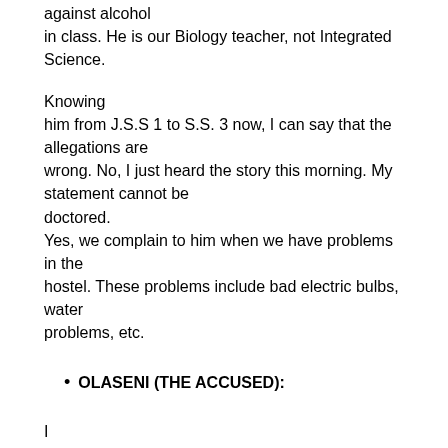against alcohol in class. He is our Biology teacher, not Integrated Science.
Knowing him from J.S.S 1 to S.S. 3 now, I can say that the allegations are wrong. No, I just heard the story this morning. My statement cannot be doctored. Yes, we complain to him when we have problems in the hostel. These problems include bad electric bulbs, water problems, etc.
OLASENI (THE ACCUSED):
I am worried about this matter because there is no truth in it. It is not